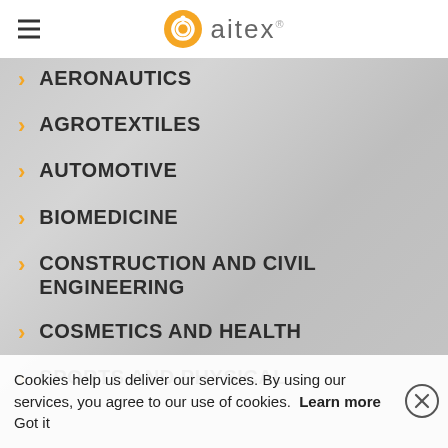[Figure (logo): Aitex logo with orange spiral and grey text]
AERONAUTICS
AGROTEXTILES
AUTOMOTIVE
BIOMEDICINE
CONSTRUCTION AND CIVIL ENGINEERING
COSMETICS AND HEALTH
SPORTS AND PHYSICAL
Cookies help us deliver our services. By using our services, you agree to our use of cookies. Learn more Got it